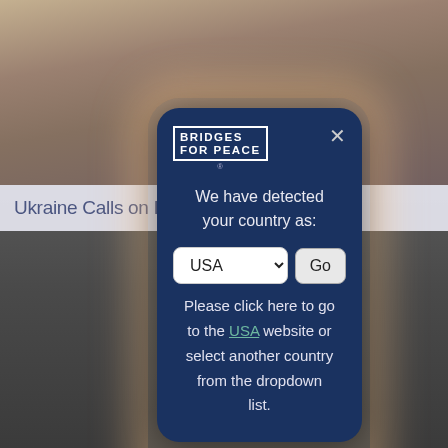[Figure (screenshot): Background image showing military/desert landscape at top, and a blurred photo of a person in suit at bottom. Headline 'Ukraine Calls on Israel to Sanction Russia' visible behind the modal.]
Ukraine Calls on Israel to Sanction Russia
[Figure (screenshot): Modal dialog from Bridges for Peace website with country detection popup showing USA in dropdown, Go button, and instruction text to click USA link or select another country from dropdown list.]
We have detected your country as:
Please click here to go to the USA website or select another country from the dropdown list.